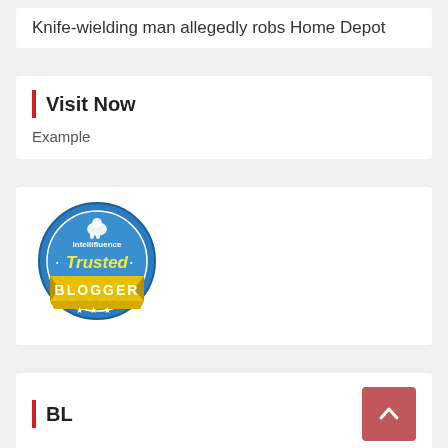Knife-wielding man allegedly robs Home Depot
Visit Now
Example
[Figure (logo): Intellifluence Trusted Blogger badge — circular blue badge with yellow banner reading BLOGGER]
BL